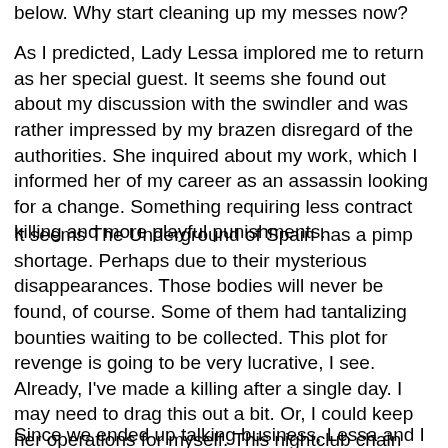below. Why start cleaning up my messes now?
As I predicted, Lady Lessa implored me to return as her special guest. It seems she found out about my discussion with the swindler and was rather impressed by my brazen disregard of the authorities. She inquired about my work, which I informed her of my career as an assassin looking for a change. Something requiring less contract killing and more playful punishments.
It seems The Underground of Spain has a pimp shortage. Perhaps due to their mysterious disappearances. Those bodies will never be found, of course. Some of them had tantalizing bounties waiting to be collected. This plot for revenge is going to be very lucrative, I see. Already, I've made a killing after a single day. I may need to drag this out a bit. Or, I could keep her operations for myself. This nightclub chain has amazing profits according to the data I've retrieved. One can never have too much money.
Since we ended up talking business, Lessa and I did